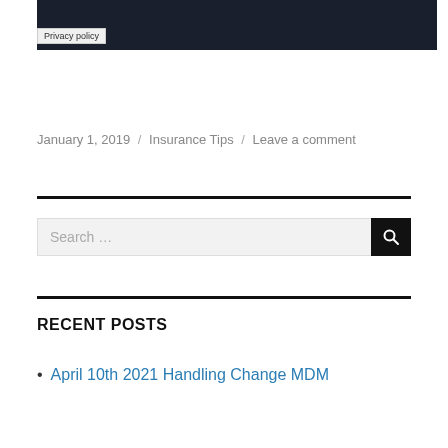[Figure (photo): Dark image showing two figures, partially cropped at top of page]
Privacy policy
January 1, 2019  /  Insurance Tips  /  Leave a comment
RECENT POSTS
April 10th 2021 Handling Change MDM